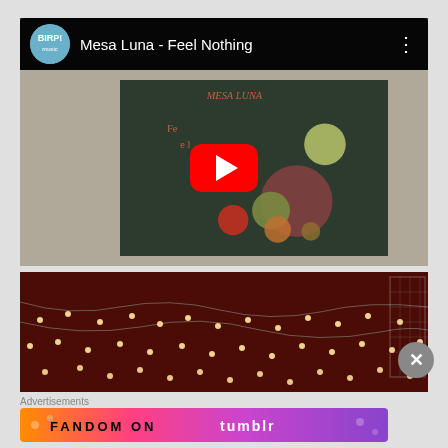[Figure (screenshot): YouTube video player showing 'Mesa Luna - Feel Nothing' with album art thumbnail featuring colorful circles on dark background, red play button overlay, BIRP! channel logo]
[Figure (photo): Photo of string lights hanging against a red/brick wall]
Advertisements
[Figure (screenshot): Tumblr advertisement banner: 'FANDOM ON tumblr' with colorful gradient background]